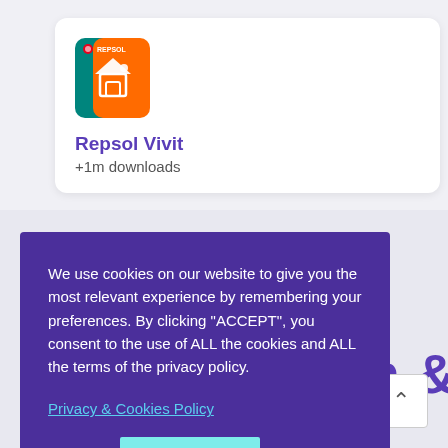[Figure (logo): Repsol Vivit app icon — orange and teal square icon with a house symbol and Repsol logo]
Repsol Vivit
+1m downloads
ion &
We use cookies on our website to give you the most relevant experience by remembering your preferences. By clicking "ACCEPT", you consent to the use of ALL the cookies and ALL the terms of the privacy policy.
Privacy & Cookies Policy
Settings
ACCEPT